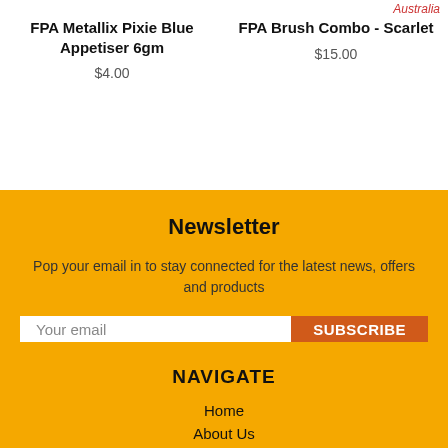Australia
FPA Metallix Pixie Blue Appetiser 6gm
$4.00
FPA Brush Combo - Scarlet
$15.00
Newsletter
Pop your email in to stay connected for the latest news, offers and products
Your email
SUBSCRIBE
NAVIGATE
Home
About Us